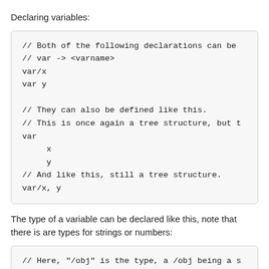Declaring variables:
// Both of the following declarations can be
// var -> <varname>
var/x
var y

// They can also be defined like this.
// This is once again a tree structure, but t
var
    x
    y
// And like this, still a tree structure.
var/x, y
The type of a variable can be declared like this, note that there is are types for strings or numbers:
// Here, "/obj" is the type, a /obj being a s
var/obj/x
// It can also be defined like this, because
var